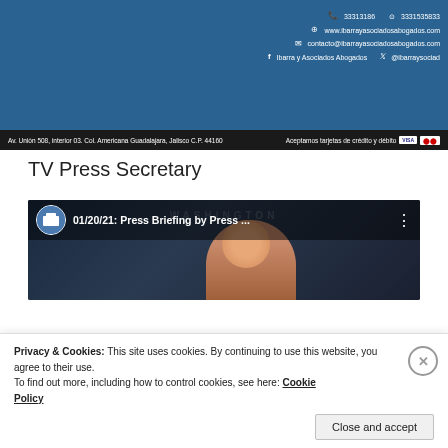[Figure (screenshot): Law firm header banner with contact info: phone 33313186, WhatsApp 3331535833, website www.ibarrayasociadosabogados.com, email contacto@ibarrayasociadosabogados.com, Facebook: Ibarra y Asociados Abogados, Twitter: @ibarraysociado. Address bar: Av. Unión 508, interior 03. Col. Americana Guadalajara, Jalisco C.P. 44160. Aceptamos tarjetas de crédito y débito.]
TV Press Secretary
[Figure (screenshot): YouTube video thumbnail showing '01/20/21: Press Briefing by Press ...' with White House channel logo and a woman with red/auburn hair speaking at a briefing. WASHINGTON text visible in background.]
Privacy & Cookies: This site uses cookies. By continuing to use this website, you agree to their use.
To find out more, including how to control cookies, see here: Cookie Policy
Close and accept